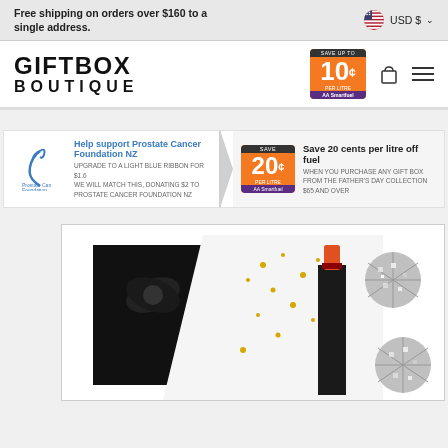Free shipping on orders over $160 to a single address.
[Figure (logo): GIFTBOX BOUTIQUE logo text in black uppercase letters]
[Figure (other): Nav bar with logo, fuel saver badge showing 10 cents per litre, cart icon, and hamburger menu]
[Figure (infographic): Promotional banner: Help support Prostate Cancer Foundation NZ - Upgrade to a light blue ribbon for $1.6 we will match this, donating $2 to Prostate Cancer Foundation NZ. Right side: Save 20 cents per litre off fuel when you purchase any gift box from the Father's Day collection $65 and over.]
[Figure (photo): Product photo showing a black gift box with black bow ribbon and a wine bottle with orange cap, surrounded by gold confetti stars and silver disco ball ornaments, on white background]